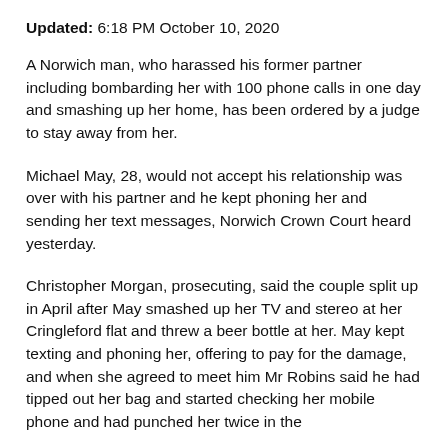Updated: 6:18 PM October 10, 2020
A Norwich man, who harassed his former partner including bombarding her with 100 phone calls in one day and smashing up her home, has been ordered by a judge to stay away from her.
Michael May, 28, would not accept his relationship was over with his partner and he kept phoning her and sending her text messages, Norwich Crown Court heard yesterday.
Christopher Morgan, prosecuting, said the couple split up in April after May smashed up her TV and stereo at her Cringleford flat and threw a beer bottle at her. May kept texting and phoning her, offering to pay for the damage, and when she agreed to meet him Mr Robins said he had tipped out her bag and started checking her mobile phone and had punched her twice in the